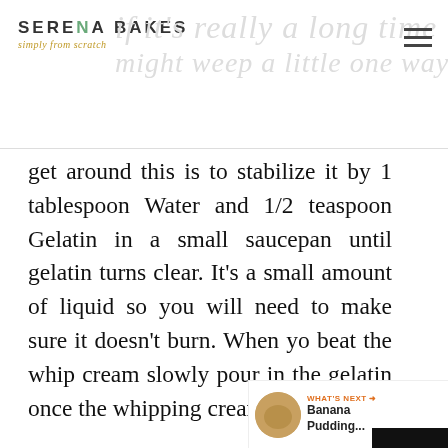Serena Bakes Simply From Scratch
get around this is to stabilize it by 1 tablespoon Water and 1/2 teaspoon Gelatin in a small saucepan until gelatin turns clear. It's a small amount of liquid so you will need to make sure it doesn't burn. When you beat the whip cream slowly pour in the gelatin and once the whipping cream